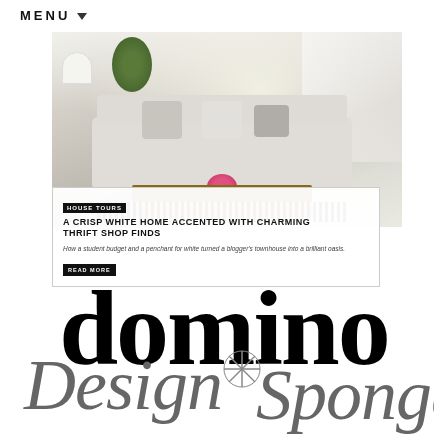MENU
[Figure (screenshot): Screenshot of a home decor website showing a bright white living room with sofa, pillows, coffee table, plants and flowers. An overlay card reads: HOUSE TOURS — A CRISP WHITE HOME ACCENTED WITH CHARMING THRIFT SHOP FINDS. How a student budget and a penchant for white turned a blogger's townhouse into a brilliant oasis. READ MORE]
[Figure (logo): domino — large bold serif black wordmark logo]
[Figure (logo): Design Sponge — ornate script logo with asterisk/snowflake motif between the two words]